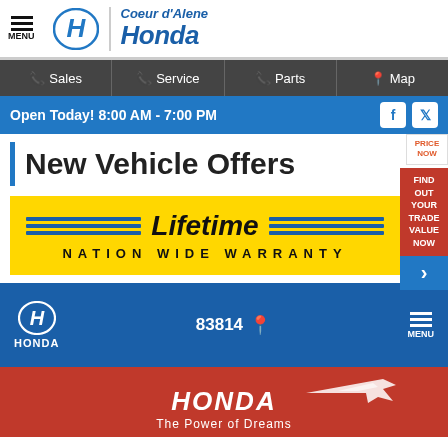[Figure (logo): Coeur d'Alene Honda dealership header with menu icon, Honda H logo, divider, and dealership name in blue italic text]
Sales | Service | Parts | Map
Open Today! 8:00 AM - 7:00 PM
New Vehicle Offers
[Figure (illustration): Yellow banner with blue stripe decorations and italic 'Lifetime' text, below reads NATION WIDE WARRANTY]
[Figure (logo): Honda logo with 83814 location and menu button on blue background, below is red background with airplane graphic and HONDA The Power of Dreams text]